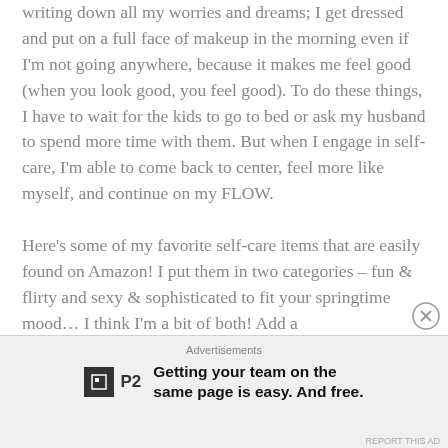writing down all my worries and dreams; I get dressed and put on a full face of makeup in the morning even if I'm not going anywhere, because it makes me feel good (when you look good, you feel good). To do these things, I have to wait for the kids to go to bed or ask my husband to spend more time with them. But when I engage in self-care, I'm able to come back to center, feel more like myself, and continue on my FLOW.

Here's some of my favorite self-care items that are easily found on Amazon! I put them in two categories – fun & flirty and sexy & sophisticated to fit your springtime mood… I think I'm a bit of both! Add a
Advertisements
Getting your team on the same page is easy. And free.